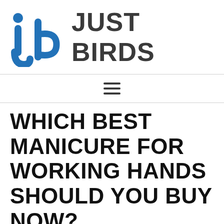[Figure (logo): Just Birds logo with blue stylized 'jb' icon and dark gray 'JUST BIRDS' text]
WHICH BEST MANICURE FOR WORKING HANDS SHOULD YOU BUY NOW?